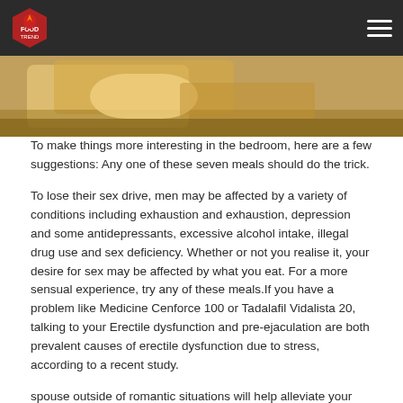FOOD TREND (logo + hamburger menu)
[Figure (photo): Close-up photo of food items on a wooden surface, partially cropped at top]
To make things more interesting in the bedroom, here are a few suggestions: Any one of these seven meals should do the trick.
To lose their sex drive, men may be affected by a variety of conditions including exhaustion and exhaustion, depression and some antidepressants, excessive alcohol intake, illegal drug use and sex deficiency. Whether or not you realise it, your desire for sex may be affected by what you eat. For a more sensual experience, try any of these meals.If you have a problem like Medicine Cenforce 100 or Tadalafil Vidalista 20, talking to your Erectile dysfunction and pre-ejaculation are both prevalent causes of erectile dysfunction due to stress, according to a recent study.
spouse outside of romantic situations will help alleviate your shame.
Pumpkin and sunflower seeds